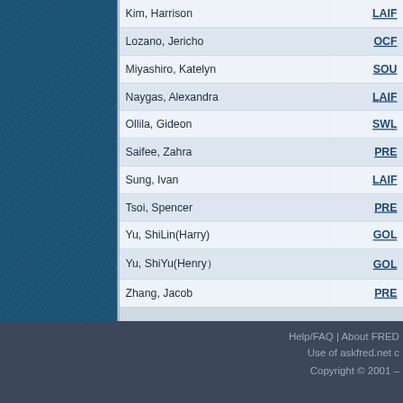| Name | Program |
| --- | --- |
| Kim, Harrison | LAIF... |
| Lozano, Jericho | OCF... |
| Miyashiro, Katelyn | SOU... |
| Naygas, Alexandra | LAIF... |
| Ollila, Gideon | SWL... |
| Saifee, Zahra | PRE... |
| Sung, Ivan | LAIF... |
| Tsoi, Spencer | PRE... |
| Yu, ShiLin(Harry) | GOL... |
| Yu, ShiYu(Henry） | GOL... |
| Zhang, Jacob | PRE... |
Help/FAQ | About FRED | Use of askfred.net c... | Copyright © 2001 –